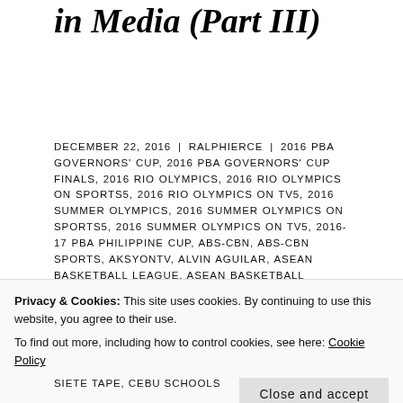in Media (Part III)
DECEMBER 22, 2016 | RALPHIERCE | 2016 PBA GOVERNORS' CUP, 2016 PBA GOVERNORS' CUP FINALS, 2016 RIO OLYMPICS, 2016 RIO OLYMPICS ON SPORTS5, 2016 RIO OLYMPICS ON TV5, 2016 SUMMER OLYMPICS, 2016 SUMMER OLYMPICS ON SPORTS5, 2016 SUMMER OLYMPICS ON TV5, 2016-17 PBA PHILIPPINE CUP, ABS-CBN, ABS-CBN SPORTS, AKSYONTV, ALVIN AGUILAR, ASEAN BASKETBALL LEAGUE, ASEAN BASKETBALL LEAGUE ON ABS-CBN
Privacy & Cookies: This site uses cookies. By continuing to use this website, you agree to their use.
To find out more, including how to control cookies, see here: Cookie Policy
SIETE TAPE, CEBU SCHOOLS